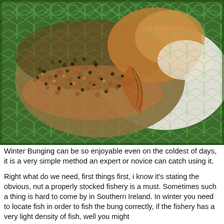[Figure (photo): Close-up photograph of a trout fish with spotted golden-brown scales and orange-red coloring, held against a green hexagonal fishing net. The fish's head and fin are visible, showing typical brown/rainbow trout markings.]
Winter Bunging can be so enjoyable even on the coldest of days, it is a very simple method an expert or novice can catch using it.
Right what do we need, first things first, i know it's stating the obvious, nut a properly stocked fishery is a must. Sometimes such a thing is hard to come by in Southern Ireland. In winter you need to locate fish in order to fish the bung correctly, if the fishery has a very light density of fish, well you might